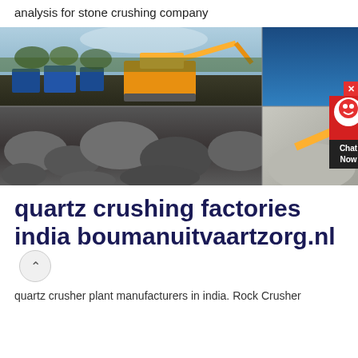analysis for stone crushing company
[Figure (photo): Composite photo showing a stone crushing facility with yellow excavators and heavy machinery on dark ground (top left), large dark rocks in black and white (bottom left), a deep blue sky (top right), and a pile of crushed gravel with yellow machinery (bottom right). A live chat widget is overlaid on the right side.]
quartz crushing factories india boumanuitvaartzorg.nl
quartz crusher plant manufacturers in india. Rock Crusher